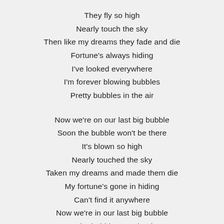They fly so high
Nearly touch the sky
Then like my dreams they fade and die
Fortune's always hiding
I've looked everywhere
I'm forever blowing bubbles
Pretty bubbles in the air

Now we're on our last big bubble
Soon the bubble won't be there
It's blown so high
Nearly touched the sky
Taken my dreams and made them die
My fortune's gone in hiding
Can't find it anywhere
Now we're in our last big bubble
Soon the bubble won't be there